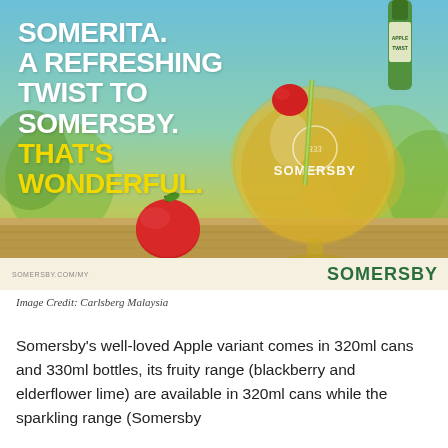[Figure (illustration): Somersby cider advertisement showing a large globe-shaped glass filled with golden cider and ice, garnished with an apple slice and straw, alongside a Somersby bottle. Red apples on a wooden surface in the foreground. Text overlay reads: SOMERITA. A REFRESHING TWIST TO SOMERSBY. THAT'S WONDERFUL. Bottom bar shows SOMERSBY.COM/MY and SOMERSBY logo.]
Image Credit: Carlsberg Malaysia
Somersby's well-loved Apple variant comes in 320ml cans and 330ml bottles, its fruity range (blackberry and elderflower lime) are available in 320ml cans while the sparkling range (Somersby